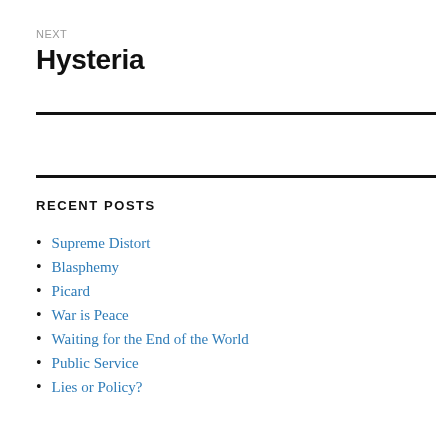NEXT
Hysteria
RECENT POSTS
Supreme Distort
Blasphemy
Picard
War is Peace
Waiting for the End of the World
Public Service
Lies or Policy?